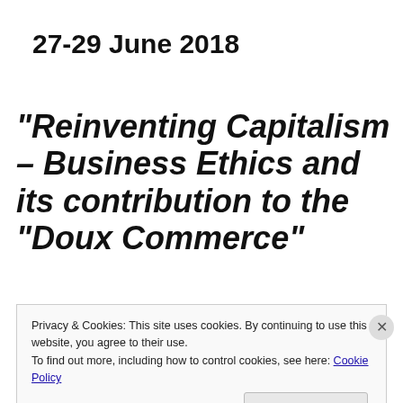27-29 June 2018
“Reinventing Capitalism – Business Ethics and its contribution to the “Doux Commerce”
Privacy & Cookies: This site uses cookies. By continuing to use this website, you agree to their use.
To find out more, including how to control cookies, see here: Cookie Policy
Close and accept